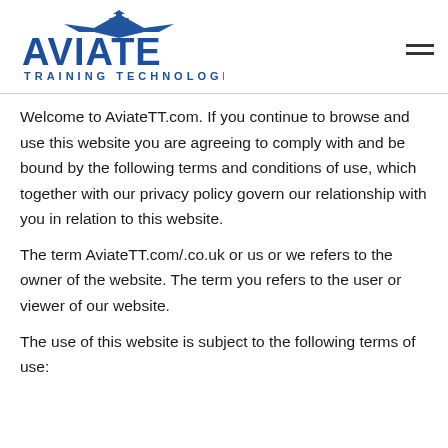[Figure (logo): Aviate Training Technologies logo — stylized blue text 'AVIATE' with aircraft silhouette above, and 'TRAINING TECHNOLOGIES' below in spaced blue letters]
Welcome to AviateTT.com. If you continue to browse and use this website you are agreeing to comply with and be bound by the following terms and conditions of use, which together with our privacy policy govern our relationship with you in relation to this website.
The term AviateTT.com/.co.uk or us or we refers to the owner of the website. The term you refers to the user or viewer of our website.
The use of this website is subject to the following terms of use: